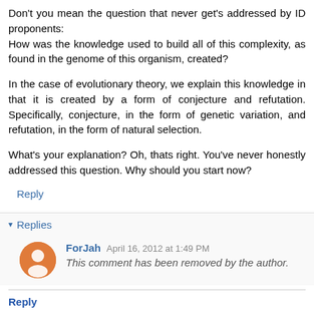Don't you mean the question that never get's addressed by ID proponents:
How was the knowledge used to build all of this complexity, as found in the genome of this organism, created?
In the case of evolutionary theory, we explain this knowledge in that it is created by a form of conjecture and refutation. Specifically, conjecture, in the form of genetic variation, and refutation, in the form of natural selection.
What's your explanation? Oh, thats right. You've never honestly addressed this question. Why should you start now?
Reply
▾ Replies
ForJah  April 16, 2012 at 1:49 PM
This comment has been removed by the author.
Reply